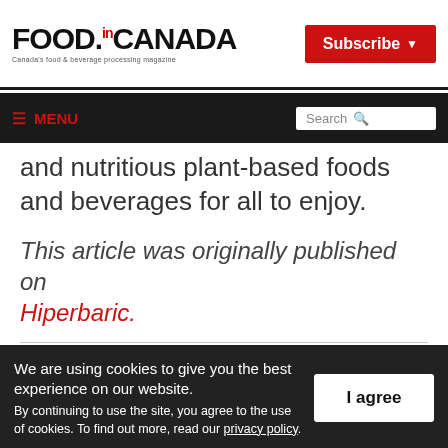FOOD.CANADA — Canada's food & beverage processing magazine | Subscribe
≡ MENU | Search
and nutritious plant-based foods and beverages for all to enjoy.
This article was originally published on Hiperbaric.
We are using cookies to give you the best experience on our website. By continuing to use the site, you agree to the use of cookies. To find out more, read our privacy policy.